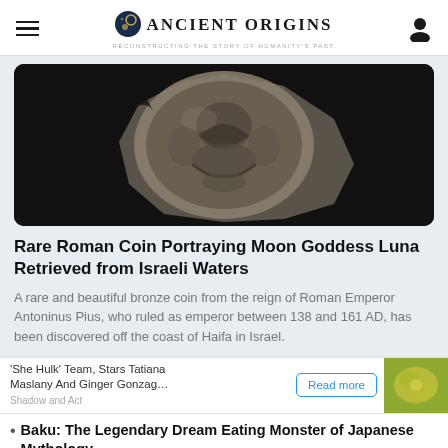Ancient Origins — Reconstructing the story of humanity's past
[Figure (photo): Ancient Roman bronze coin showing an embossed figure, photographed against a black background]
Rare Roman Coin Portraying Moon Goddess Luna Retrieved from Israeli Waters
A rare and beautiful bronze coin from the reign of Roman Emperor Antoninus Pius, who ruled as emperor between 138 and 161 AD, has been discovered off the coast of Haifa in Israel.
'She Hulk' Team, Stars Tatiana Maslany And Ginger Gonzag… Shadow and Act. Read more.
Baku: The Legendary Dream Eating Monster of Japanese Mythology